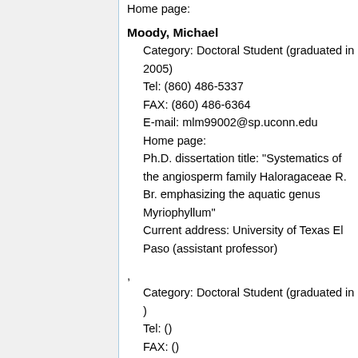Home page:
Moody, Michael
Category: Doctoral Student (graduated in 2005)
Tel: (860) 486-5337
FAX: (860) 486-6364
E-mail: mlm99002@sp.uconn.edu
Home page:
Ph.D. dissertation title: "Systematics of the angiosperm family Haloragaceae R. Br. emphasizing the aquatic genus Myriophyllum"
Current address: University of Texas El Paso (assistant professor)
,
Category: Doctoral Student (graduated in )
Tel: ()
FAX: ()